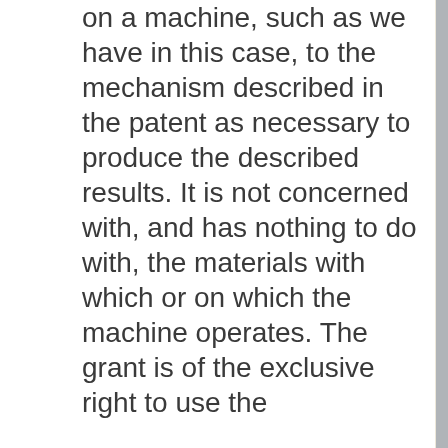on a machine, such as we have in this case, to the mechanism described in the patent as necessary to produce the described results. It is not concerned with, and has nothing to do with, the materials with which or on which the machine operates. The grant is of the exclusive right to use the